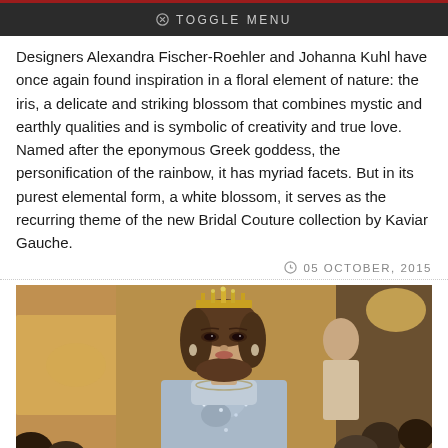TOGGLE MENU
Designers Alexandra Fischer-Roehler and Johanna Kuhl have once again found inspiration in a floral element of nature: the iris, a delicate and striking blossom that combines mystic and earthly qualities and is symbolic of creativity and true love. Named after the eponymous Greek goddess, the personification of the rainbow, it has myriad facets. But in its purest elemental form, a white blossom, it serves as the recurring theme of the new Bridal Couture collection by Kaviar Gauche.
05 OCTOBER, 2015
[Figure (photo): Fashion runway photo of a female model wearing a jeweled crown/tiara and an embellished light blue/silver gown, walking the runway with another model in the background]